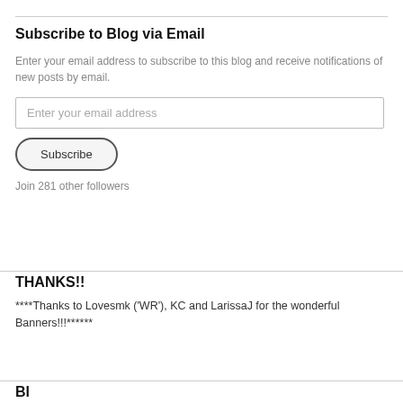Subscribe to Blog via Email
Enter your email address to subscribe to this blog and receive notifications of new posts by email.
Enter your email address
Subscribe
Join 281 other followers
THANKS!!
****Thanks to Lovesmk ('WR'), KC and LarissaJ for the wonderful Banners!!!******
Blog